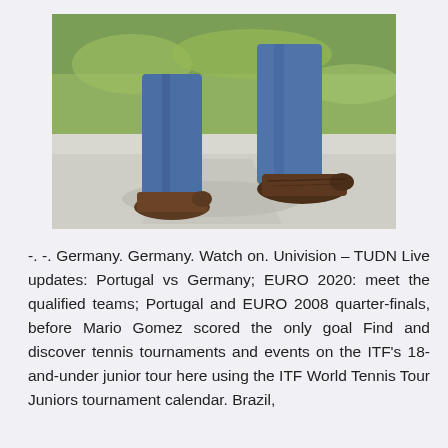[Figure (photo): Close-up photograph of a person's legs from the knees down, wearing blue jeans and brown leather shoes, walking on a concrete sidewalk with green grass in the background.]
-. -. Germany. Germany. Watch on. Univision – TUDN Live updates: Portugal vs Germany; EURO 2020: meet the qualified teams; Portugal and EURO 2008 quarter-finals, before Mario Gomez scored the only goal Find and discover tennis tournaments and events on the ITF's 18-and-under junior tour here using the ITF World Tennis Tour Juniors tournament calendar. Brazil,